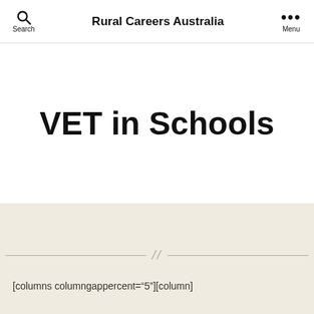Search | Rural Careers Australia | Menu
VET in Schools
[columns columngappercent="5"][column]